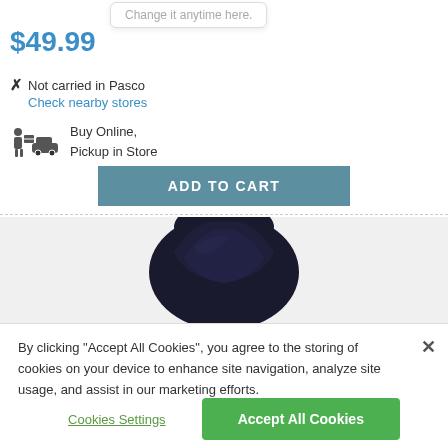Change it anytime here.
$49.99
✗ Not carried in Pasco
Check nearby stores
Buy Online, Pickup in Store
ADD TO CART
[Figure (photo): Dark navy hooded jacket or backpack product image, partially cropped]
By clicking "Accept All Cookies", you agree to the storing of cookies on your device to enhance site navigation, analyze site usage, and assist in our marketing efforts.
Cookies Settings
Accept All Cookies